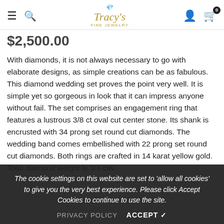Tracy's Fine Jewelry — navigation header with hamburger, search, logo, user, and cart icons
$2,500.00 (partial price shown)
With diamonds, it is not always necessary to go with elaborate designs, as simple creations can be as fabulous. This diamond wedding set proves the point very well. It is simple yet so gorgeous in look that it can impress anyone without fail. The set comprises an engagement ring that features a lustrous 3/8 ct oval cut center stone. Its shank is encrusted with 34 prong set round cut diamonds. The wedding band comes embellished with 22 prong set round cut diamonds. Both rings are crafted in 14 karat yellow gold. Total diamond weight is 3/4 ctw.
The cookie settings on this website are set to 'allow all cookies' to give you the very best experience. Please click Accept Cookies to continue to use the site.
PRIVACY POLICY   ACCEPT ✔